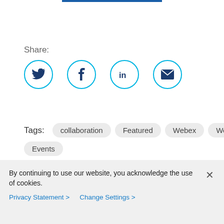[Figure (infographic): Share section with social media icon circles for Twitter, Facebook, LinkedIn, and Email (envelope), each in a cyan circular border]
Tags: collaboration  Featured  Webex  Webex Events
By continuing to use our website, you acknowledge the use of cookies.
Privacy Statement >    Change Settings >